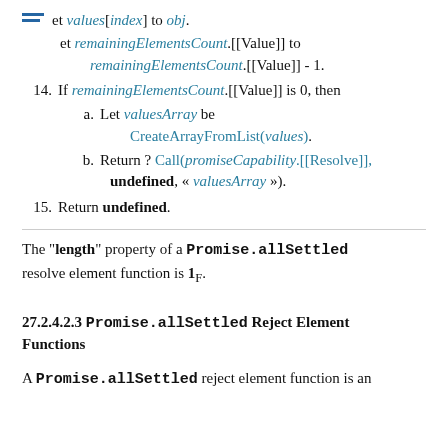et values[index] to obj.
et remainingElementsCount.[[Value]] to remainingElementsCount.[[Value]] - 1.
14. If remainingElementsCount.[[Value]] is 0, then
a. Let valuesArray be CreateArrayFromList(values).
b. Return ? Call(promiseCapability.[[Resolve]], undefined, « valuesArray »).
15. Return undefined.
The "length" property of a Promise.allSettled resolve element function is 1F.
27.2.4.2.3 Promise.allSettled Reject Element Functions
A Promise.allSettled reject element function is an